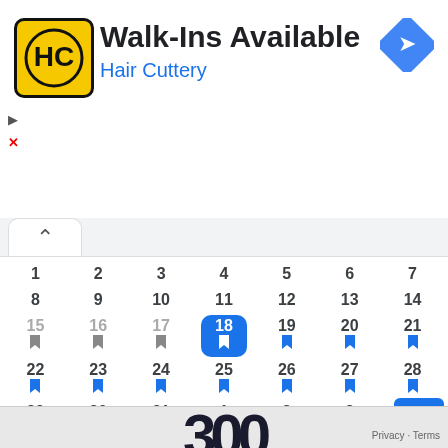[Figure (screenshot): Hair Cuttery ad banner with logo, 'Walk-Ins Available' title, and navigation icon]
[Figure (screenshot): Calendar UI showing a month view with dates 1-31 and continuation dates 1-4, with date 18 highlighted in blue and bookmark icons on dates 15-31 and 19-28. Bottom shows 'August 15' label and partial image of large numbers.]